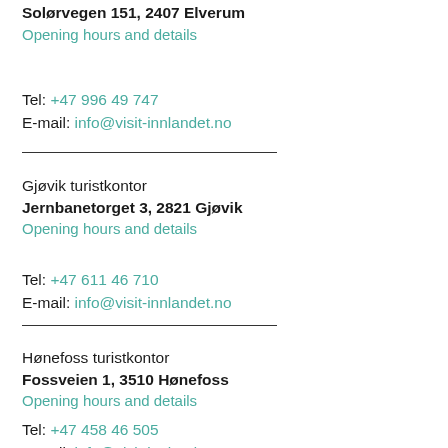Solørvegen 151, 2407 Elverum
Opening hours and details
Tel: +47 996 49 747
E-mail: info@visit-innlandet.no
Gjøvik turistkontor
Jernbanetorvet 3, 2821 Gjøvik
Opening hours and details
Tel: +47 611 46 710
E-mail: info@visit-innlandet.no
Hønefoss turistkontor
Fossveien 1, 3510 Hønefoss
Opening hours and details
Tel: +47 458 46 505
E-mail: info@visit-innlandet.no